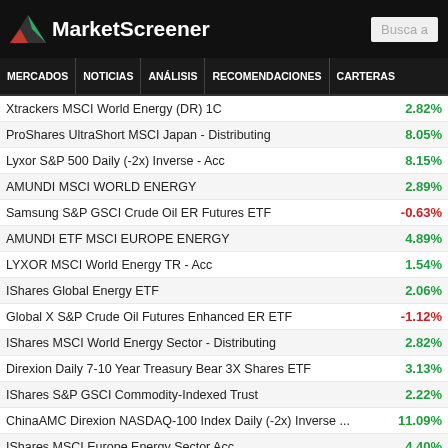MarketScreener
MERCADOS NOTICIAS ANÁLISIS RECOMENDACIONES CARTERAS
Xtrackers MSCI World Energy (DR) 1C
ProShares UltraShort MSCI Japan - Distributing
Lyxor S&P 500 Daily (-2x) Inverse - Acc
AMUNDI MSCI WORLD ENERGY
Samsung S&P GSCI Crude Oil ER Futures ETF
AMUNDI ETF MSCI EUROPE ENERGY
LYXOR MSCI World Energy TR - Acc
IShares Global Energy ETF
Global X S&P Crude Oil Futures Enhanced ER ETF
IShares MSCI World Energy Sector - Distributing
Direxion Daily 7-10 Year Treasury Bear 3X Shares ETF
IShares S&P GSCI Commodity-Indexed Trust
ChinaAMC Direxion NASDAQ-100 Index Daily (-2x) Inverse ...
IShares MSCI Europe Energy Sector Acc